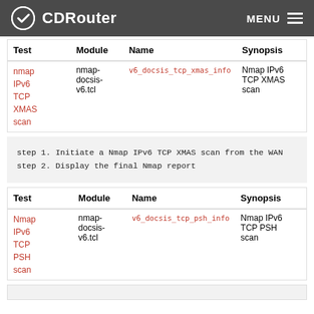CDRouter  MENU
| Test | Module | Name | Synopsis |
| --- | --- | --- | --- |
| Nmap IPv6 TCP XMAS scan | nmap-docsis-v6.tcl | v6_docsis_tcp_xmas_info | Nmap IPv6 TCP XMAS scan |
step 1. Initiate a Nmap IPv6 TCP XMAS scan from the WAN
step 2. Display the final Nmap report
| Test | Module | Name | Synopsis |
| --- | --- | --- | --- |
| Nmap IPv6 TCP PSH scan | nmap-docsis-v6.tcl | v6_docsis_tcp_psh_info | Nmap IPv6 TCP PSH scan |